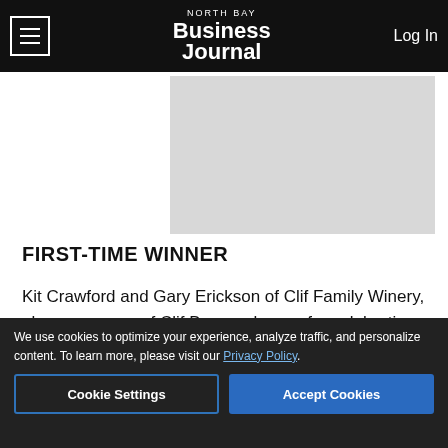NORTH BAY Business Journal | Log In
[Figure (other): Gray advertisement placeholder box]
FIRST-TIME WINNER
Kit Crawford and Gary Erickson of Clif Family Winery, also co-owners of Clif Bar, are known for celebrating wine, crafting artisan small-batch foods for lunch at their Bruschetteria Food Truck and organizing cycling adventures
[Figure (other): Interwest Insurance banner ad: Winery & Vineyard Employee Benefit & Risk Management Consultants. Specializing in Resources to Reduce the Overall Cost of Insurance. Click here to learn more.]
We use cookies to optimize your experience, analyze traffic, and personalize content. To learn more, please visit our Privacy Policy.
Cookie Settings | Accept Cookies